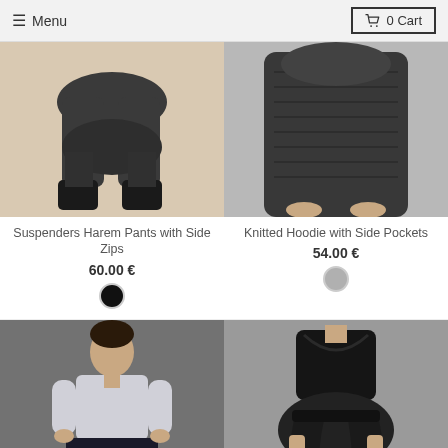≡ Menu   🛒 0 Cart
[Figure (photo): Model wearing dark harem pants with suspenders and black boots, beige background — Suspenders Harem Pants with Side Zips]
Suspenders Harem Pants with Side Zips
60.00 €
[Figure (photo): Model wearing dark knitted hoodie with side pockets, grey background — Knitted Hoodie with Side Pockets]
Knitted Hoodie with Side Pockets
54.00 €
[Figure (photo): Model in light grey top and dark floral skirt on dark grey background]
[Figure (photo): Model in black harem pants and black draped top on grey background]